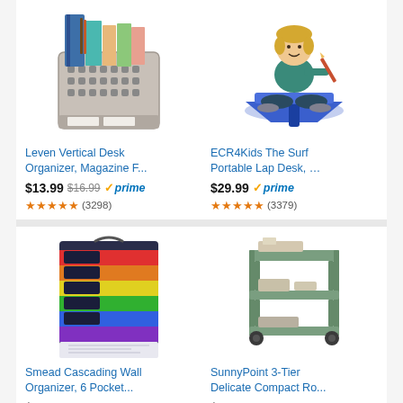[Figure (photo): Leven Vertical Desk Organizer product photo]
Leven Vertical Desk Organizer, Magazine F...
$13.99 $16.99 prime
(3298)
[Figure (photo): ECR4Kids The Surf Portable Lap Desk product photo showing a child using the desk]
ECR4Kids The Surf Portable Lap Desk, ...
$29.99 prime
(3379)
[Figure (photo): Smead Cascading Wall Organizer, 6 Pocket product photo]
Smead Cascading Wall Organizer, 6 Pocket...
$14.99 $25.33 prime
(12641)
[Figure (photo): SunnyPoint 3-Tier Delicate Compact Rolling Utility Cart product photo]
SunnyPoint 3-Tier Delicate Compact Ro...
$43.99 prime
(570)